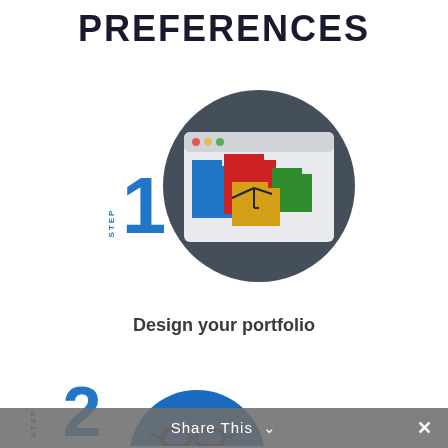PREFERENCES
[Figure (infographic): Step 1 illustration: a dark circle containing a browser/window with colorful folder icons (blue, red, green, yellow/gold) connected by lines, representing portfolio design. 'STEP 1' label with vertical STEP text and large blue numeral 1 to the left of the circle.]
Design your portfolio
[Figure (infographic): Step 2 illustration (partially visible at bottom): large blue numeral 2 with vertical STEP label, and a blue circle partially visible showing a cartoon face with glasses.]
Share This ∨  ×